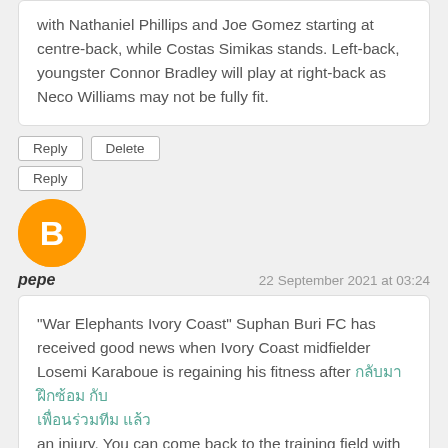with Nathaniel Phillips and Joe Gomez starting at centre-back, while Costas Simikas stands. Left-back, youngster Connor Bradley will play at right-back as Neco Williams may not be fully fit.
Reply | Delete | Reply
[Figure (illustration): Blogger avatar icon — orange circle with white letter B in center]
pepe
22 September 2021 at 03:24
"War Elephants Ivory Coast" Suphan Buri FC has received good news when Ivory Coast midfielder Losemi Karaboue is regaining his fitness after [Thai text link] an injury. You can come back to the training field with your teammates.